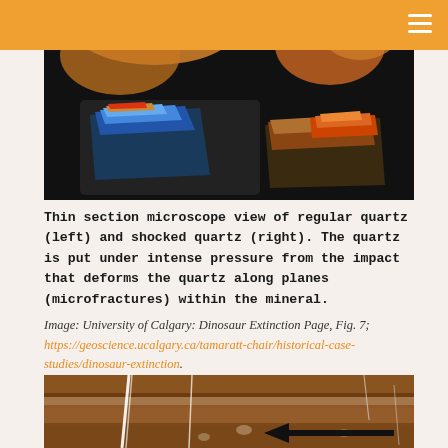[Figure (photo): Thin section microscope view showing regular quartz (left, with colorful interference patterns) and shocked quartz (right) against a dark background. The shocked quartz shows planar deformation features.]
Thin section microscope view of regular quartz (left) and shocked quartz (right). The quartz is put under intense pressure from the impact that deforms the quartz along planes (microfractures) within the mineral. Image: University of Calgary: Dinosaur Extinction Page, Fig. 7; https://geoscience.ucalgary.ca/tamaratt-chair/historical-case-studies/dinosaur-extinction.
[Figure (photo): Close-up photo of a rock layer cross-section showing brown/rust colored sedimentary layers with white vein structures and a black arrow pointing left, likely indicating the K-Pg boundary or iridium layer.]